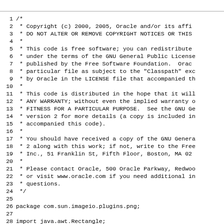Source code file with Oracle copyright header and package declaration. Lines 1-28 showing a Java file beginning with /* copyright comment block, package com.sun.imageio.plugins.png; and import java.awt.Rectangle;